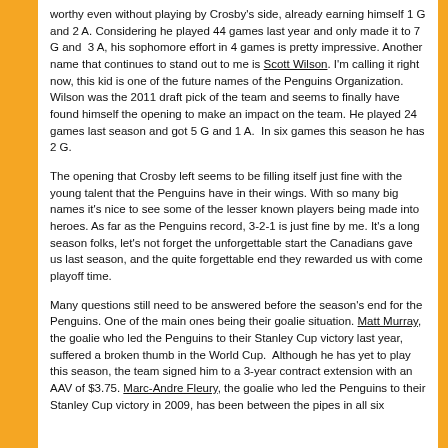worthy even without playing by Crosby's side, already earning himself 1 G and 2 A. Considering he played 44 games last year and only made it to 7 G and  3 A, his sophomore effort in 4 games is pretty impressive. Another name that continues to stand out to me is Scott Wilson. I'm calling it right now, this kid is one of the future names of the Penguins Organization. Wilson was the 2011 draft pick of the team and seems to finally have found himself the opening to make an impact on the team. He played 24 games last season and got 5 G and 1 A.  In six games this season he has 2 G.
The opening that Crosby left seems to be filling itself just fine with the young talent that the Penguins have in their wings. With so many big names it's nice to see some of the lesser known players being made into heroes. As far as the Penguins record, 3-2-1 is just fine by me. It's a long season folks, let's not forget the unforgettable start the Canadians gave us last season, and the quite forgettable end they rewarded us with come playoff time.
Many questions still need to be answered before the season's end for the Penguins. One of the main ones being their goalie situation. Matt Murray, the goalie who led the Penguins to their Stanley Cup victory last year, suffered a broken thumb in the World Cup.  Although he has yet to play this season, the team signed him to a 3-year contract extension with an AAV of $3.75. Marc-Andre Fleury, the goalie who led the Penguins to their Stanley Cup victory in 2009, has been between the pipes in all six